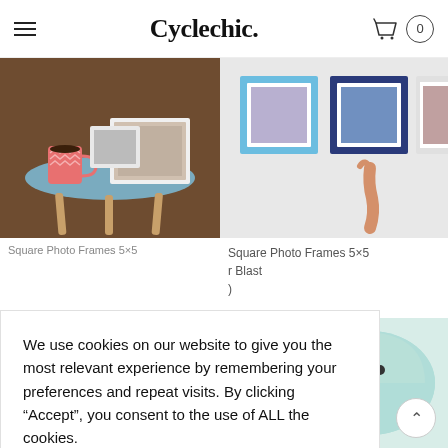Cyclechic.
[Figure (photo): A teal side table with a pink chevron mug and white photo frames with family photos on a wooden floor]
[Figure (photo): Three framed photos (light blue, dark blue, white frames) mounted on a white wall, with a hand reaching up]
Square Photo Frames 5×5
Square Photo Frames 5×5
r Blast
)
[Figure (photo): Pink bicycle detail / product image at bottom left]
[Figure (photo): Mint green Cyclechic cycling helmet on a light background]
We use cookies on our website to give you the most relevant experience by remembering your preferences and repeat visits. By clicking "Accept", you consent to the use of ALL the cookies.
Cookie settings
ACCEPT ALL